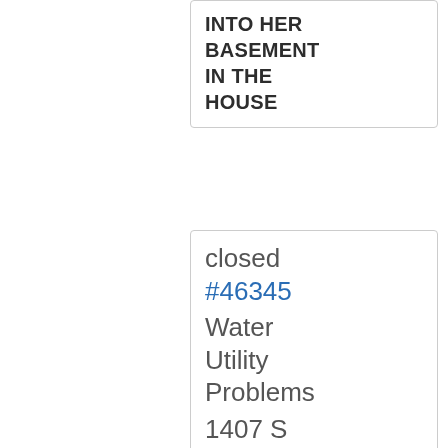INTO HER BASEMENT IN THE HOUSE
closed #46345 Water Utility Problems 1407 S Park AVE
Case Date: 2/8/20
CUSTOMER SAYS THAT HIS WATER IS WHITE